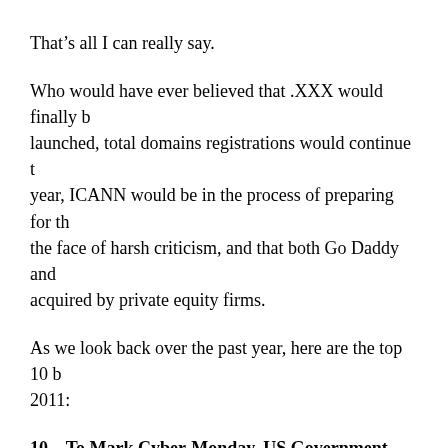That’s all I can really say.
Who would have ever believed that .XXX would finally be launched, total domains registrations would continue to year, ICANN would be in the process of preparing for the face of harsh criticism, and that both Go Daddy and acquired by private equity firms.
As we look back over the past year, here are the top 10 2011:
10 – To Mark Cyber-Monday, US Government Cont Domain Seizures
On November 28, U.S. Immigration and Customs Enfor